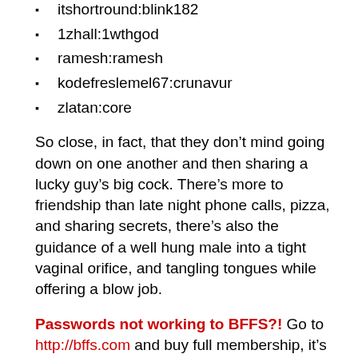itshortround:blink182
1zhall:1wthgod
ramesh:ramesh
kodefreslemel67:crunavur
zlatan:core
So close, in fact, that they don’t mind going down on one another and then sharing a lucky guy’s big cock. There’s more to friendship than late night phone calls, pizza, and sharing secrets, there’s also the guidance of a well hung male into a tight vaginal orifice, and tangling tongues while offering a blow job.
Passwords not working to BFFS?! Go to http://bffs.com and buy full membership, it’s cheaper than you think!